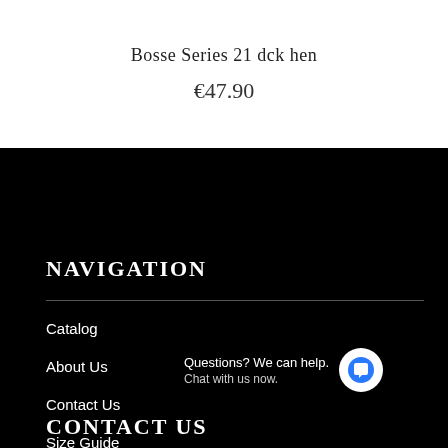Bosse Series 21 dck hen
€47.90
NAVIGATION
Catalog
About Us
Contact Us
Size Guide
Questions? We can help. Chat with us now.
CONTACT US